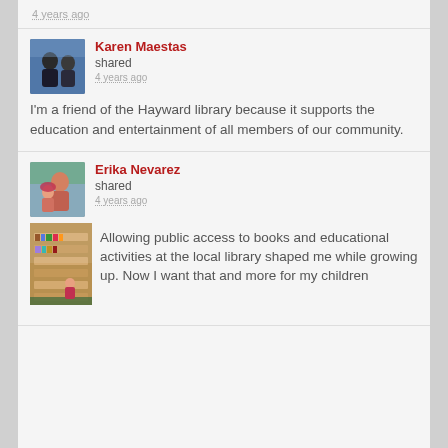4 years ago
Karen Maestas
shared
4 years ago
I'm a friend of the Hayward library because it supports the education and entertainment of all members of our community.
Erika Nevarez
shared
4 years ago
Allowing public access to books and educational activities at the local library shaped me while growing up. Now I want that and more for my children